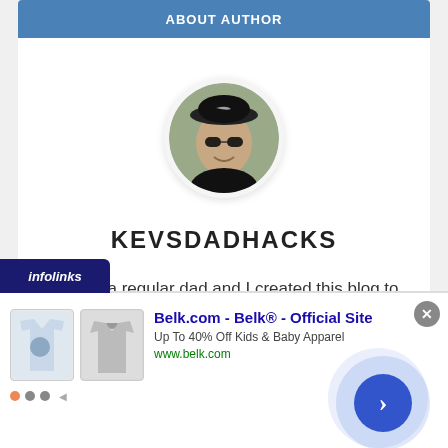ABOUT AUTHOR
[Figure (photo): Circular profile photo of a man wearing sunglasses and a dark cap, smiling]
KEVSDADHACKS
I'm just a regular dad and I created this blog to share my dad hacks (tips) with families like you on a variety of topics like family activities, food, reviews and more
[Figure (screenshot): Infolinks advertisement overlay for Belk.com - Belk® - Official Site. Up To 40% Off Kids & Baby Apparel. www.belk.com. Shows two product images of children's clothing.]